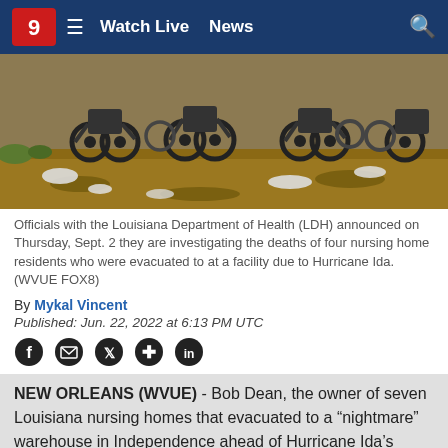Watch Live  News
[Figure (photo): Row of empty wheelchairs on dirt ground with scattered debris, outdoor setting]
Officials with the Louisiana Department of Health (LDH) announced on Thursday, Sept. 2 they are investigating the deaths of four nursing home residents who were evacuated to at a facility due to Hurricane Ida.  (WVUE FOX8)
By Mykal Vincent
Published: Jun. 22, 2022 at 6:13 PM UTC
NEW ORLEANS (WVUE) - Bob Dean, the owner of seven Louisiana nursing homes that evacuated to a “nightmare” warehouse in Independence ahead of Hurricane Ida’s landfall, has been arrested by the state’s attorney